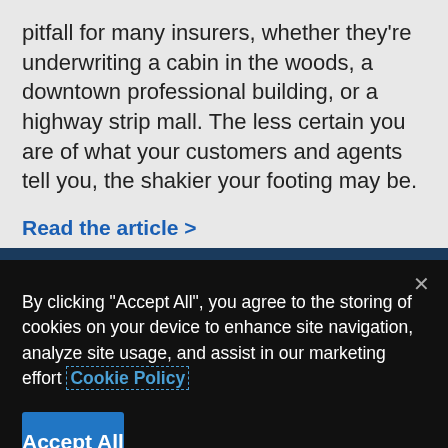pitfall for many insurers, whether they're underwriting a cabin in the woods, a downtown professional building, or a highway strip mall. The less certain you are of what your customers and agents tell you, the shakier your footing may be.
Read the article >
By clicking "Accept All", you agree to the storing of cookies on your device to enhance site navigation, analyze site usage, and assist in our marketing effort Cookie Policy
Accept All
More Information